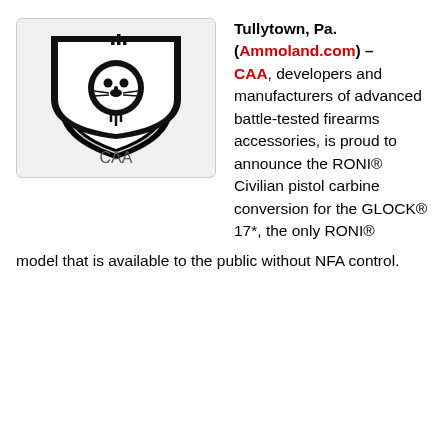[Figure (logo): CAA logo: black shield with lion head icon and CAA text, on light gray background with label 'CAA' below]
Tullytown, Pa. (Ammoland.com) – CAA, developers and manufacturers of advanced battle-tested firearms accessories, is proud to announce the RONI® Civilian pistol carbine conversion for the GLOCK® 17*, the only RONI® model that is available to the public without NFA control.